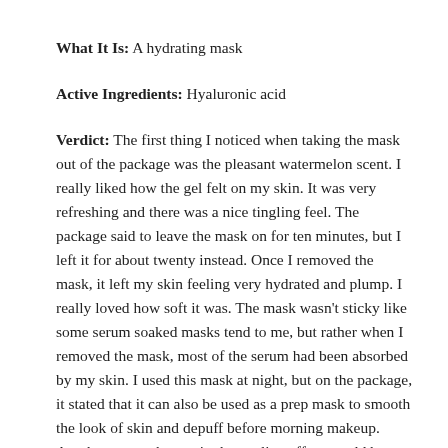What It Is: A hydrating mask
Active Ingredients: Hyaluronic acid
Verdict: The first thing I noticed when taking the mask out of the package was the pleasant watermelon scent. I really liked how the gel felt on my skin. It was very refreshing and there was a nice tingling feel. The package said to leave the mask on for ten minutes, but I left it for about twenty instead. Once I removed the mask, it left my skin feeling very hydrated and plump. I really loved how soft it was. The mask wasn't sticky like some serum soaked masks tend to me, but rather when I removed the mask, most of the serum had been absorbed by my skin. I used this mask at night, but on the package, it stated that it can also be used as a prep mask to smooth the look of skin and depuff before morning makeup. Another way to best gain the cooling effect would be to pop this mask in the fridge for